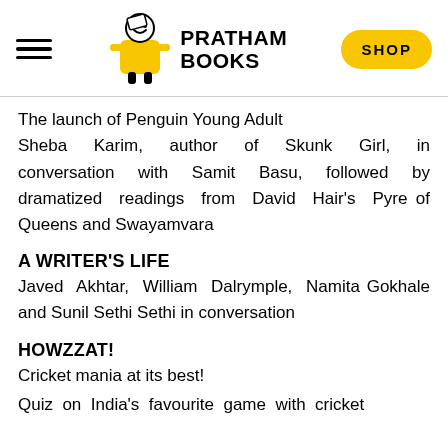PRATHAM BOOKS [with logo and SHOP button]
The launch of Penguin Young Adult Sheba Karim, author of Skunk Girl, in conversation with Samit Basu, followed by dramatized readings from David Hair's Pyre of Queens and Swayamvara
A WRITER'S LIFE
Javed Akhtar, William Dalrymple, Namita Gokhale and Sunil Sethi Sethi in conversation
HOWZZAT!
Cricket mania at its best!
Quiz on India's favourite game with cricket